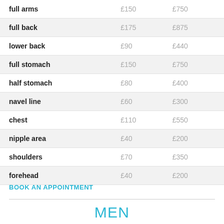|  |  |  |
| --- | --- | --- |
| full arms | £150 | £750 |
| full back | £175 | £875 |
| lower back | £90 | £440 |
| full stomach | £150 | £750 |
| half stomach | £80 | £400 |
| navel line | £60 | £300 |
| chest | £110 | £550 |
| nipple area | £40 | £200 |
| shoulders | £70 | £350 |
| forehead | £40 | £200 |
BOOK AN APPOINTMENT
MEN